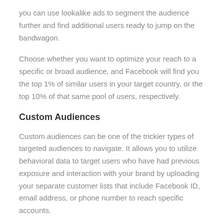you can use lookalike ads to segment the audience further and find additional users ready to jump on the bandwagon.
Choose whether you want to optimize your reach to a specific or broad audience, and Facebook will find you the top 1% of similar users in your target country, or the top 10% of that same pool of users, respectively.
Custom Audiences
Custom audiences can be one of the trickier types of targeted audiences to navigate. It allows you to utilize behavioral data to target users who have had previous exposure and interaction with your brand by uploading your separate customer lists that include Facebook ID, email address, or phone number to reach specific accounts.
You can also pair it with Facebook tracking pixels, which you